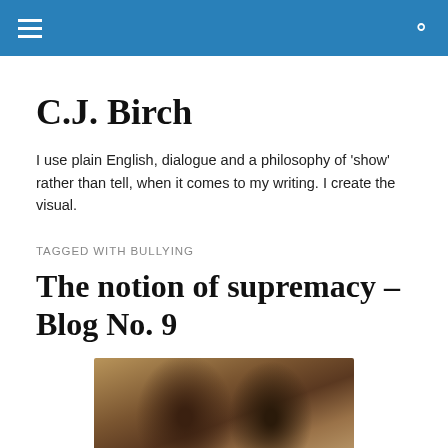C.J. Birch — navigation header with hamburger menu and search icon
C.J. Birch
I use plain English, dialogue and a philosophy of 'show' rather than tell, when it comes to my writing. I create the visual.
TAGGED WITH BULLYING
The notion of supremacy – Blog No. 9
[Figure (photo): Side-by-side sepia-toned photos of a person at two different ages — younger on the left with an afro hairstyle, older on the right with straight dark hair]